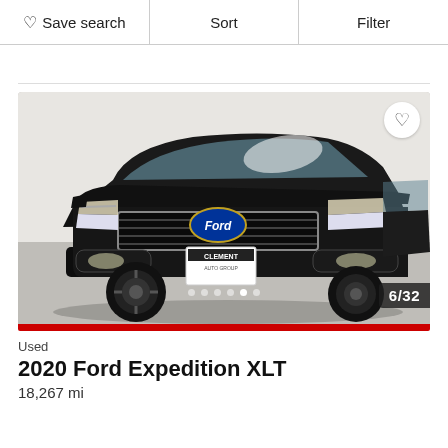♡ Save search | Sort | Filter
[Figure (photo): Front view of a black 2020 Ford Expedition XLT SUV with CLEMENT AUTO GROUP dealer plate, shown in a studio/showroom setting. Photo counter shows 6/32. Heart/favorite button in top right corner. Navigation dots at bottom center.]
Used
2020 Ford Expedition XLT
18,267 mi